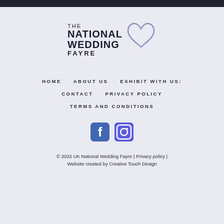[Figure (logo): The National Wedding Fayre logo with heart outline above]
HOME   ABOUT US   EXHIBIT WITH US:   CONTACT   PRIVACY POLICY   TERMS AND CONDITIONS
[Figure (illustration): Facebook and Instagram social media icons]
© 2022 UK National Wedding Fayre | Privacy policy | Website created by Creative Touch Design